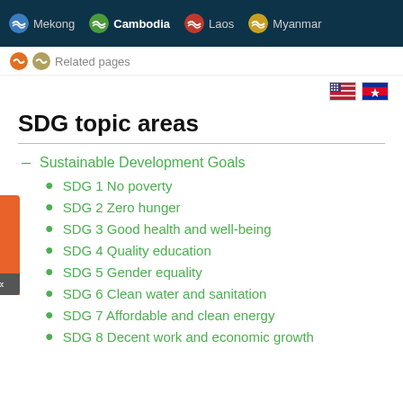Mekong | Cambodia | Laos | Myanmar
Related pages
SDG topic areas
Sustainable Development Goals
SDG 1 No poverty
SDG 2 Zero hunger
SDG 3 Good health and well-being
SDG 4 Quality education
SDG 5 Gender equality
SDG 6 Clean water and sanitation
SDG 7 Affordable and clean energy
SDG 8 Decent work and economic growth